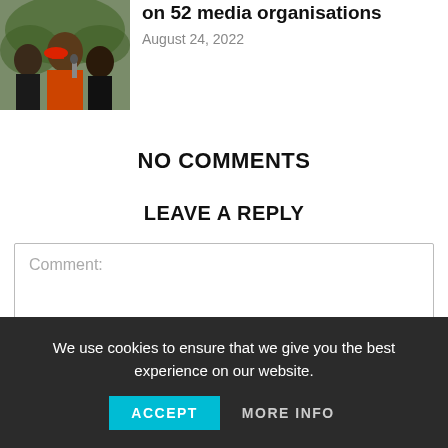[Figure (photo): Thumbnail photo of a man in red beret speaking into a microphone, with other people in background]
on 52 media organisations
August 24, 2022
NO COMMENTS
LEAVE A REPLY
Comment:
We use cookies to ensure that we give you the best experience on our website.
ACCEPT
MORE INFO